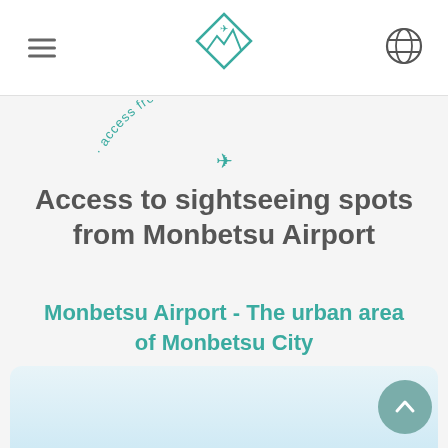Navigation header with hamburger menu, logo, and globe icon
[Figure (illustration): Arc text badge reading '· access from Monbetsu Airport ·' with a small airplane icon, rendered in teal/green color on a curved path]
Access to sightseeing spots from Monbetsu Airport
Monbetsu Airport - The urban area of Monbetsu City
[Figure (photo): Partial view of a white card/panel at the bottom of the page, with a scroll-to-top teal circular button in the lower right corner]